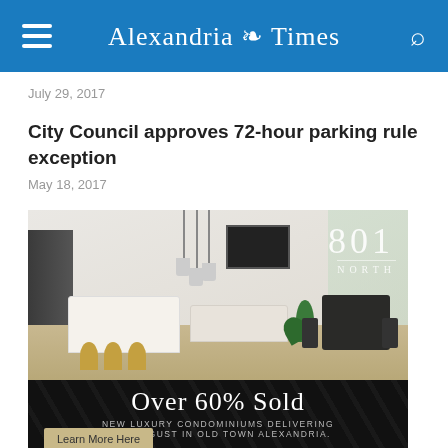Alexandria Times
July 29, 2017
City Council approves 72-hour parking rule exception
May 18, 2017
[Figure (photo): Advertisement for 801 North luxury condominiums in Old Town Alexandria. Top portion shows a rendered interior of a modern open-plan living/kitchen/dining area. Bottom dark section reads 'Over 60% Sold' with subtext 'NEW LUXURY CONDOMINIUMS DELIVERING THIS AUGUST IN OLD TOWN ALEXANDRIA.' and a 'Learn More Here' button.]